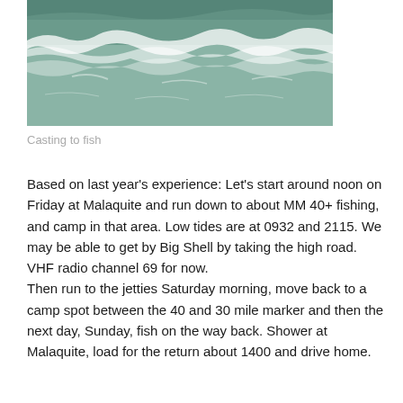[Figure (photo): Aerial or overhead view of ocean waves with greenish-blue water and white foam.]
Casting to fish
Based on last year's experience: Let's start around noon on Friday at Malaquite and run down to about MM 40+ fishing, and camp in that area. Low tides are at 0932 and 2115. We may be able to get by Big Shell by taking the high road.
VHF radio channel 69 for now.
Then run to the jetties Saturday morning, move back to a camp spot between the 40 and 30 mile marker and then the next day, Sunday, fish on the way back. Shower at Malaquite, load for the return about 1400 and drive home.